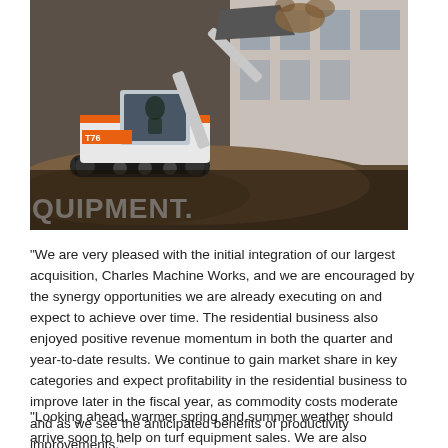[Figure (photo): A Bobcat compact track loader operating on a construction site, scooping dirt with its bucket. An operator is visible in the cab. The word 'QUIPMENT.' is overlaid in white bold text at the bottom left of the image.]
"We are very pleased with the initial integration of our largest acquisition, Charles Machine Works, and we are encouraged by the synergy opportunities we are already executing on and expect to achieve over time. The residential business also enjoyed positive revenue momentum in both the quarter and year-to-date results. We continue to gain market share in key categories and expect profitability in the residential business to improve later in the fiscal year, as commodity costs moderate and as we see the anticipated benefits of productivity improvements."
"Looking ahead, warmer spring and summer weather should arrive soon to help on turf equipment sales. We are also